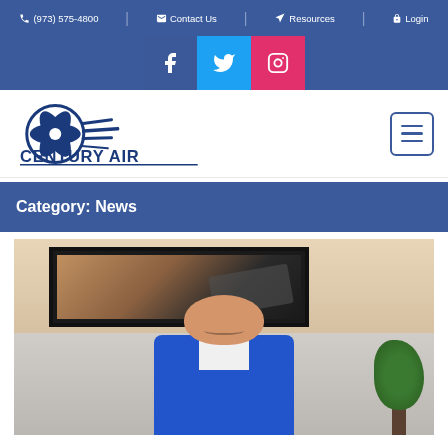(973) 575-4800  Contact Us  Resources  Login
[Figure (screenshot): Social media icons: Facebook (blue), Twitter (cyan), Instagram (pink)]
[Figure (logo): Century Air logo with stylized airplane propeller icon and text CENTURY AIR in dark blue]
Category: News
[Figure (photo): A smiling older man in a blue Century Air jacket seated in an office, with a framed aviation artwork on the wall behind him and a plant to his right]